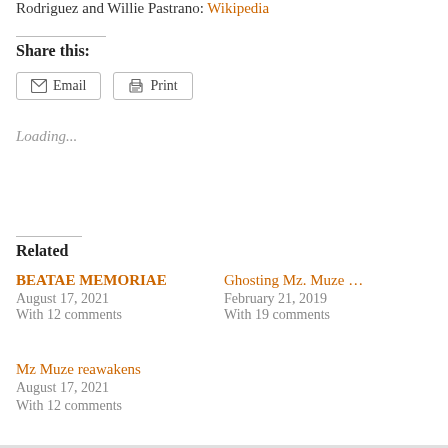Rodriguez and Willie Pastrano: Wikipedia
Share this:
Email  Print
Loading...
Related
BEATAE MEMORIAE
August 17, 2021
With 12 comments
Ghosting Mz. Muze …
February 21, 2019
With 19 comments
Mz Muze reawakens
August 17, 2021
With 12 comments